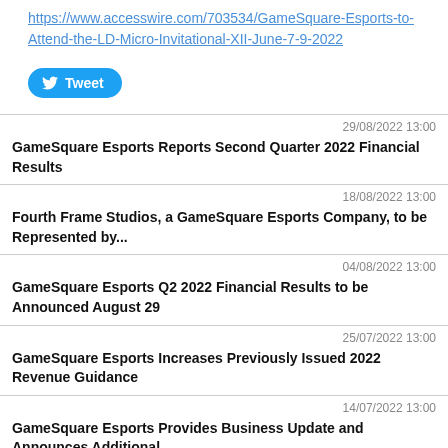https://www.accesswire.com/703534/GameSquare-Esports-to-Attend-the-LD-Micro-Invitational-XII-June-7-9-2022
[Figure (other): Twitter Tweet button with bird icon]
29/08/2022 13:00
GameSquare Esports Reports Second Quarter 2022 Financial Results
18/08/2022 13:00
Fourth Frame Studios, a GameSquare Esports Company, to be Represented by...
04/08/2022 13:00
GameSquare Esports Q2 2022 Financial Results to be Announced August 29
25/07/2022 13:00
GameSquare Esports Increases Previously Issued 2022 Revenue Guidance
14/07/2022 13:00
GameSquare Esports Provides Business Update and Announces Additional...
30/06/2022 13:00